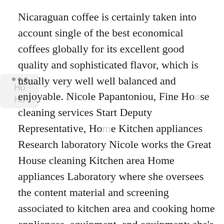Nicaraguan coffee is certainly taken into account single of the best economical coffees globally for its excellent good quality and sophisticated flavor, which is usually very well well balanced and enjoyable. Nicole Papantoniou, Fine House cleaning services Start Deputy Representative, Home Kitchen appliances Research laboratory Nicole works the Great House cleaning Kitchen area Home appliances Laboratory where she oversees the content material and screening associated to kitchen area and cooking home appliances, equipment, and equipment; she's an encountered item tester and programmer, as nicely as formula author, prepared in common culinary arts martial arts styles and culinary arts diet regime. It features programs, auto-shutoff, an important cleaning it pointer, an important lasting narrow, an important mineral water parrow, brew strength command, and a